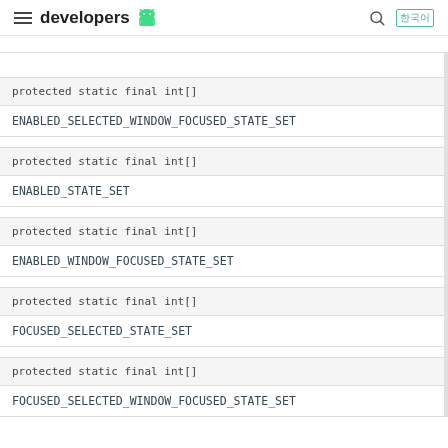developers [Android logo]
| protected static final int[] | ENABLED_SELECTED_WINDOW_FOCUSED_STATE_SET |
| protected static final int[] | ENABLED_STATE_SET |
| protected static final int[] | ENABLED_WINDOW_FOCUSED_STATE_SET |
| protected static final int[] | FOCUSED_SELECTED_STATE_SET |
| protected static final int[] | FOCUSED_SELECTED_WINDOW_FOCUSED_STATE_SET |